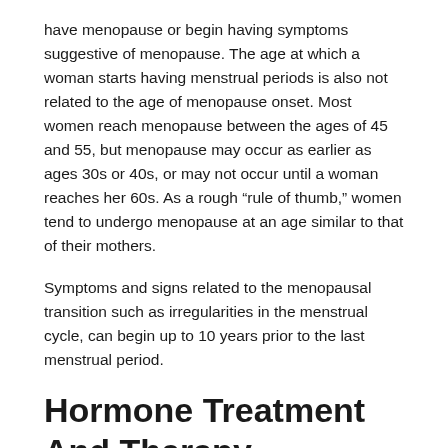have menopause or begin having symptoms suggestive of menopause. The age at which a woman starts having menstrual periods is also not related to the age of menopause onset. Most women reach menopause between the ages of 45 and 55, but menopause may occur as earlier as ages 30s or 40s, or may not occur until a woman reaches her 60s. As a rough “rule of thumb,” women tend to undergo menopause at an age similar to that of their mothers.
Symptoms and signs related to the menopausal transition such as irregularities in the menstrual cycle, can begin up to 10 years prior to the last menstrual period.
Hormone Treatment And Therapy
Estrogen and progesterone therapy